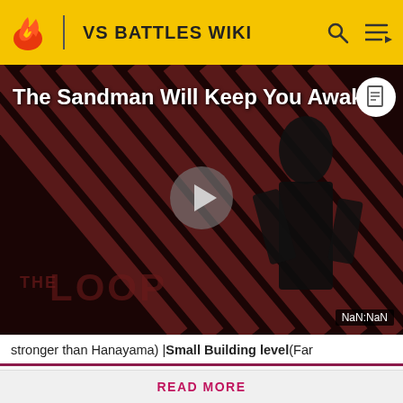VS BATTLES WIKI
[Figure (screenshot): Video thumbnail for 'The Sandman Will Keep You Awake' featuring a dark figure against a red-striped background with THE LOOP text overlay and a play button. Shows NaN:NaN timestamp badge.]
stronger than Hanayama) | Small Building level (Far
We have moved to a new external forum hosted at https://vsbattles.com
READ MORE